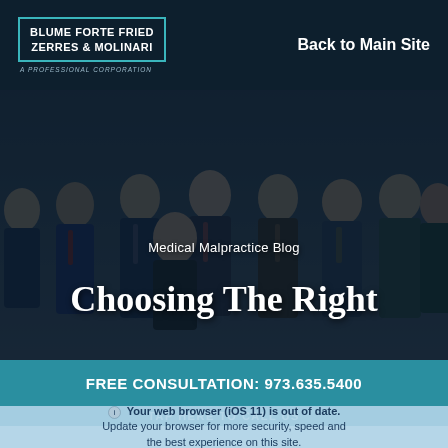[Figure (logo): Blume Forte Fried Zerres & Molinari logo with teal border on dark navy background]
Back to Main Site
[Figure (photo): Group photo of law firm attorneys in business attire, posed together, with dark overlay]
Medical Malpractice Blog
Choosing The Right Law Firm Matters
FREE CONSULTATION: 973.635.5400
TAP HERE TO CALL US
Your web browser (iOS 11) is out of date. Update your browser for more security, speed and the best experience on this site.